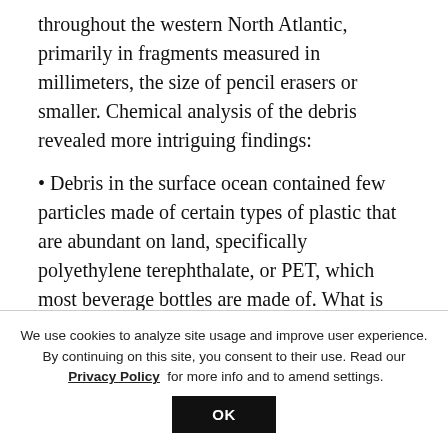throughout the western North Atlantic, primarily in fragments measured in millimeters, the size of pencil erasers or smaller. Chemical analysis of the debris revealed more intriguing findings:
• Debris in the surface ocean contained few particles made of certain types of plastic that are abundant on land, specifically polyethylene terephthalate, or PET, which most beverage bottles are made of. What is happening to that
We use cookies to analyze site usage and improve user experience. By continuing on this site, you consent to their use. Read our Privacy Policy for more info and to amend settings.